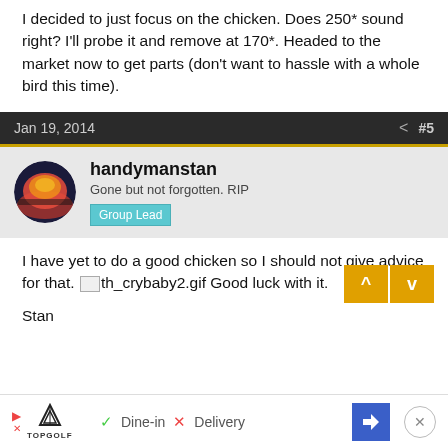I decided to just focus on the chicken. Does 250* sound right? I'll probe it and remove at 170*. Headed to the market now to get parts (don't want to hassle with a whole bird this time).
Jan 19, 2014  #5
handymanstan
Gone but not forgotten. RIP
Group Lead
I have yet to do a good chicken so I should not give advice for that. [th_crybaby2.gif] Good luck with it.

Stan
[Figure (screenshot): Advertisement bar showing TopGolf logo with Dine-in and Delivery options]